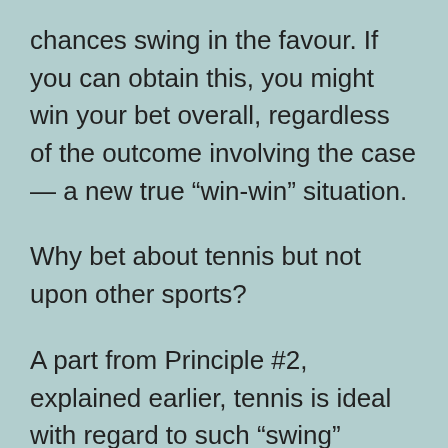chances swing in the favour. If you can obtain this, you might win your bet overall, regardless of the outcome involving the case — a new true “win-win” situation.
Why bet about tennis but not upon other sports?
A part from Principle #2, explained earlier, tennis is ideal with regard to such “swing” betting, because the odds fluctuate after every single point is played. You can find therefore extremely many small golf swings to one area